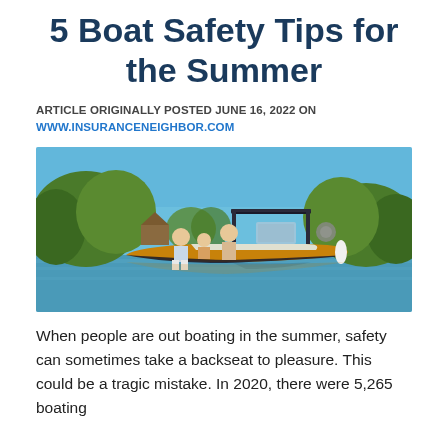5 Boat Safety Tips for the Summer
ARTICLE ORIGINALLY POSTED JUNE 16, 2022 ON WWW.INSURANCENEIGHBOR.COM
[Figure (photo): A family of three sitting on the back of a motorboat on a calm river, with green trees and a cabin visible in the background. The boat is gold/black colored with a blue canopy top.]
When people are out boating in the summer, safety can sometimes take a backseat to pleasure. This could be a tragic mistake. In 2020, there were 5,265 boating